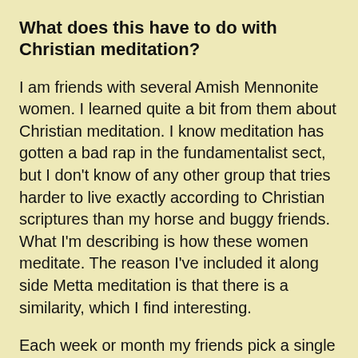What does this have to do with Christian meditation?
I am friends with several Amish Mennonite women. I learned quite a bit from them about Christian meditation. I know meditation has gotten a bad rap in the fundamentalist sect, but I don't know of any other group that tries harder to live exactly according to Christian scriptures than my horse and buggy friends. What I'm describing is how these women meditate. The reason I've included it along side Metta meditation is that there is a similarity, which I find interesting.
Each week or month my friends pick a single scripture, typically one that is inspirational or uplifting, or a single aspect of God such as love,